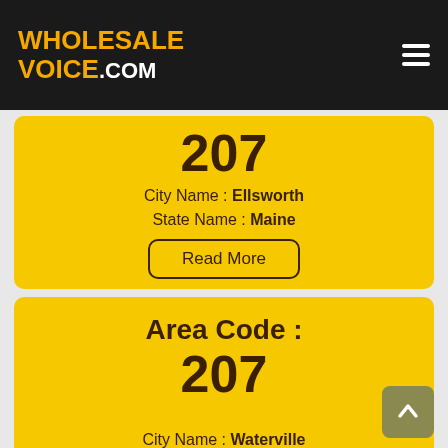WHOLESALE VOICE .com
207
City Name : Ellsworth
State Name : Maine
Read More
Area Code : 207
City Name : Waterville
State Name : Maine